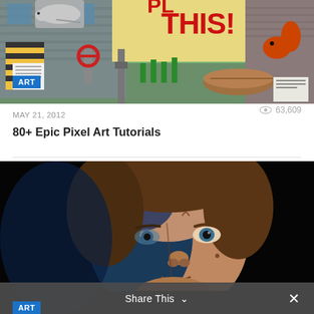[Figure (illustration): Pixel art / isometric game-style scene showing buildings, animals (rat, squirrel), signage reading 'THIS!', warning signs, pipes, vegetation, and logs. Blue 'ART' badge overlay in bottom-left.]
MAY 21, 2012
63,609
80+ Epic Pixel Art Tutorials
[Figure (photo): Dark dramatic portrait photo of a man with curly brown hair, face lit from one side, intense gaze — resembles a Game of Thrones character. Share bar overlay at bottom with 'Share This ∨' and close X button.]
Share This ∨
ART